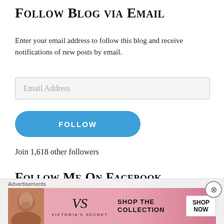Follow Blog via Email
Enter your email address to follow this blog and receive notifications of new posts by email.
Email Address
FOLLOW
Join 1,618 other followers
Follow Me On Facebook
Advertisements
[Figure (screenshot): Victoria's Secret advertisement banner with woman photo, VS logo, 'SHOP THE COLLECTION' text, and 'SHOP NOW' button]